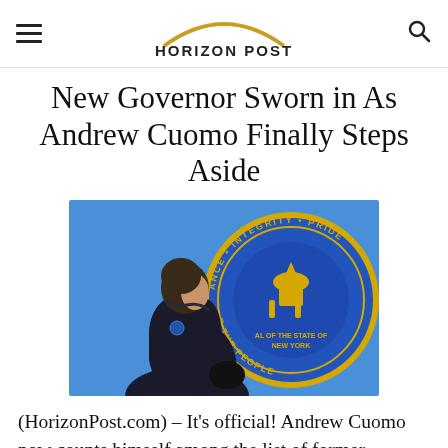HORIZON POST
New Governor Sworn in As Andrew Cuomo Finally Steps Aside
[Figure (photo): A man in a dark jacket walks in profile against a bright blue background showing the New York State seal with text 'INTEGRITY · PRIDE · R THE PEOPLE · OF THE STATE OF NEW YORK']
(HorizonPost.com) – It's official! Andrew Cuomo now counts himself among the list of former